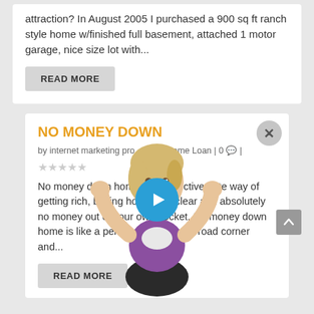attraction? In August 2005 I purchased a 900 sq ft ranch style home w/finished full basement, attached 1 motor garage, nice size lot with...
READ MORE
NO MONEY DOWN
by internet marketing pro | Home Loan | 0 💬 | ★★★★★
No money down home is an effective gate way of getting rich, buying home with clear and absolutely no money out of your own pocket. No money down home is like a person standing at a road corner and...
READ MORE
[Figure (photo): 3D avatar of a blonde woman in purple vest with hands raised, with a blue play button overlay in the center]